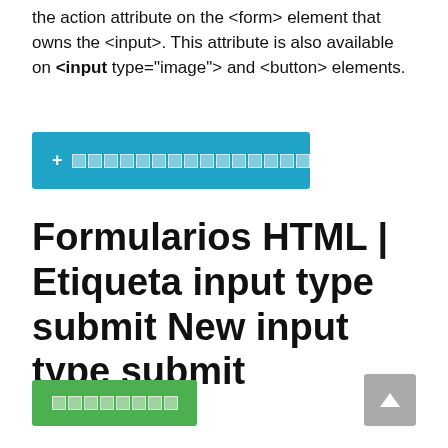the action attribute on the <form> element that owns the <input>. This attribute is also available on <input> type="image"> and <button> elements.
[Figure (other): Blue button with plus sign and redacted/blocked text squares]
Formularios HTML | Etiqueta input type submit New input type submit
[Figure (other): Green button with redacted text squares]
[Figure (other): Gray scroll-to-top button with upward arrow]